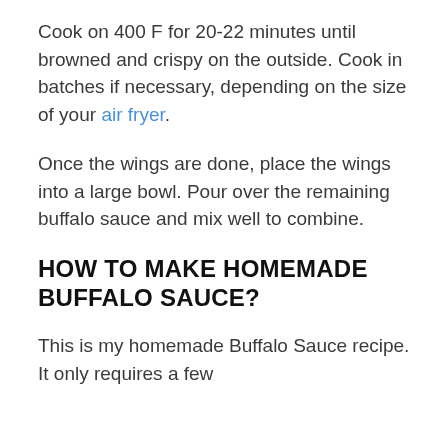Cook on 400 F for 20-22 minutes until browned and crispy on the outside. Cook in batches if necessary, depending on the size of your air fryer.
Once the wings are done, place the wings into a large bowl. Pour over the remaining buffalo sauce and mix well to combine.
HOW TO MAKE HOMEMADE BUFFALO SAUCE?
This is my homemade Buffalo Sauce recipe. It only requires a few...